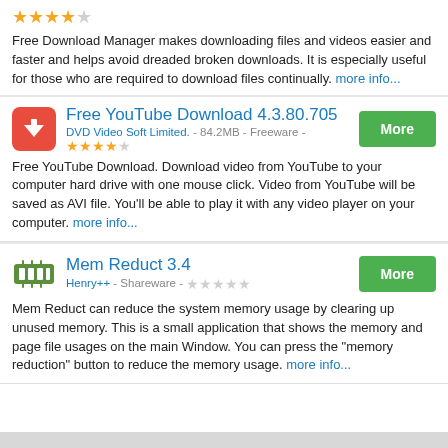[Figure (other): 4-star rating (4 out of 5 stars)]
Free Download Manager makes downloading files and videos easier and faster and helps avoid dreaded broken downloads. It is especially useful for those who are required to download files continually. more info...
[Figure (other): Free YouTube Download app icon - red square with white down arrow]
Free YouTube Download 4.3.80.705
DVD Video Soft Limited. - 84.2MB - Freeware - 4 stars
Free YouTube Download. Download video from YouTube to your computer hard drive with one mouse click. Video from YouTube will be saved as AVI file. You'll be able to play it with any video player on your computer. more info...
[Figure (other): Mem Reduct app icon - green RAM chip]
Mem Reduct 3.4
Henry++ - Shareware - 0 stars
Mem Reduct can reduce the system memory usage by clearing up unused memory. This is a small application that shows the memory and page file usages on the main Window. You can press the "memory reduction" button to reduce the memory usage. more info...